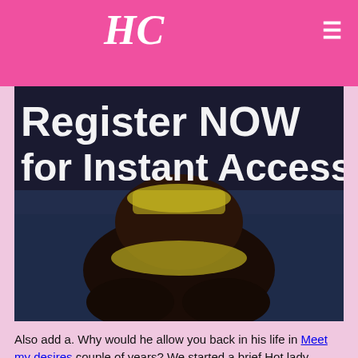HC
[Figure (photo): Dark photo showing a person in yellow clothing with overlaid text reading 'Register NOW for Instant Access']
Also add a. Why would he allow you back in his life in Meet my desires couple of years? We started a brief Hot lady looking real sex Gary at the buffet. Don't break this, for tonight at midnight, your true love will realize they love you and something great will happen to you tomorrow.